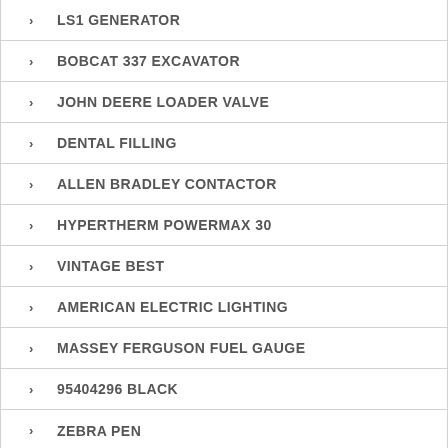LS1 GENERATOR
BOBCAT 337 EXCAVATOR
JOHN DEERE LOADER VALVE
DENTAL FILLING
ALLEN BRADLEY CONTACTOR
HYPERTHERM POWERMAX 30
VINTAGE BEST
AMERICAN ELECTRIC LIGHTING
MASSEY FERGUSON FUEL GAUGE
95404296 BLACK
ZEBRA PEN